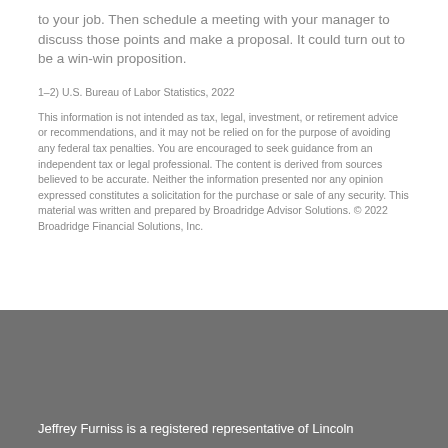to your job. Then schedule a meeting with your manager to discuss those points and make a proposal. It could turn out to be a win-win proposition.
1–2) U.S. Bureau of Labor Statistics, 2022
This information is not intended as tax, legal, investment, or retirement advice or recommendations, and it may not be relied on for the purpose of avoiding any federal tax penalties. You are encouraged to seek guidance from an independent tax or legal professional. The content is derived from sources believed to be accurate. Neither the information presented nor any opinion expressed constitutes a solicitation for the purchase or sale of any security. This material was written and prepared by Broadridge Advisor Solutions. © 2022 Broadridge Financial Solutions, Inc.
Jeffrey Furniss is a registered representative of Lincoln